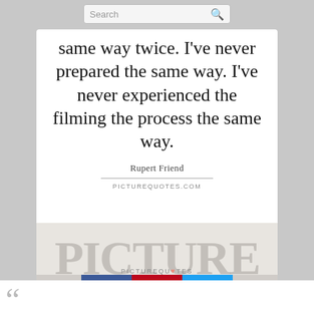Search
same way twice. I've never prepared the same way. I've never experienced the filming the process the same way.
Rupert Friend
PICTUREQUOTES.com
[Figure (screenshot): Watermark logo area showing faded text background for picturequotes.com]
PICTUREQUOTES
[Figure (infographic): Social media sharing buttons: Facebook (blue), Pinterest (red), Twitter (blue)]
““